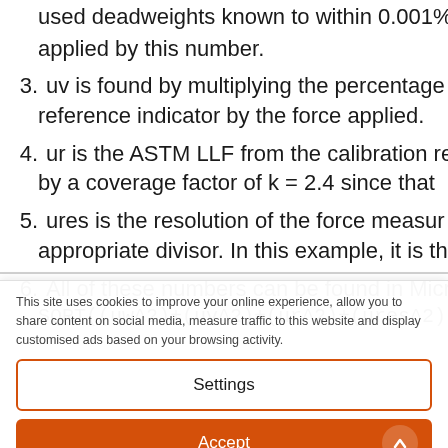used deadweights known to within 0.001% applied by this number.
3. uv is found by multiplying the percentage reference indicator by the force applied.
4. ur is the ASTM LLF from the calibration rep by a coverage factor of k = 2.4 since that
5. ures is the resolution of the force measur appropriate divisor. In this example, it is th
6. All of these numbers can be found in Micr SQRT((uw^2)+(uv^2)+(ur^2)+(ures^2))
This site uses cookies to improve your online experience, allow you to share content on social media, measure traffic to this website and display customised ads based on your browsing activity.
Settings
Accept